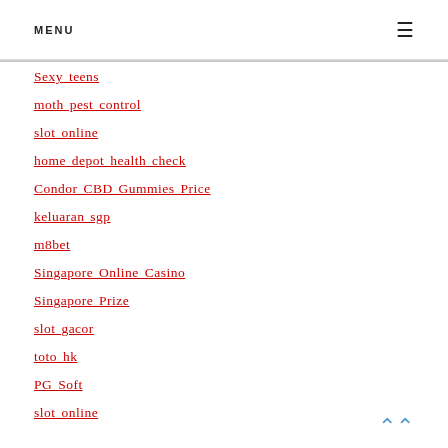MENU
Sexy teens
moth pest control
slot online
home depot health check
Condor CBD Gummies Price
keluaran sgp
m8bet
Singapore Online Casino
Singapore Prize
slot gacor
toto hk
PG Soft
slot online